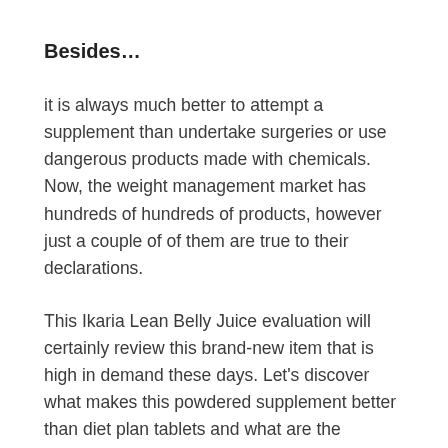Besides…
it is always much better to attempt a supplement than undertake surgeries or use dangerous products made with chemicals. Now, the weight management market has hundreds of hundreds of products, however just a couple of of them are true to their declarations.
This Ikaria Lean Belly Juice evaluation will certainly review this brand-new item that is high in demand these days. Let's discover what makes this powdered supplement better than diet plan tablets and what are the reasons individuals are putting their trust fund and also cash right into this